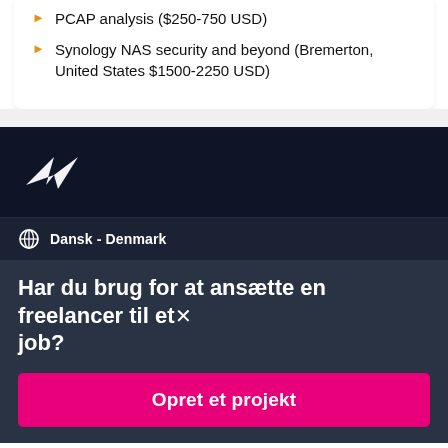PCAP analysis ($250-750 USD)
Synology NAS security and beyond (Bremerton, United States $1500-2250 USD)
[Figure (logo): Freelancer.com hummingbird logo in white on dark navy background]
Dansk - Denmark
Har du brug for at ansætte en freelancer til et job?
Opret et projekt